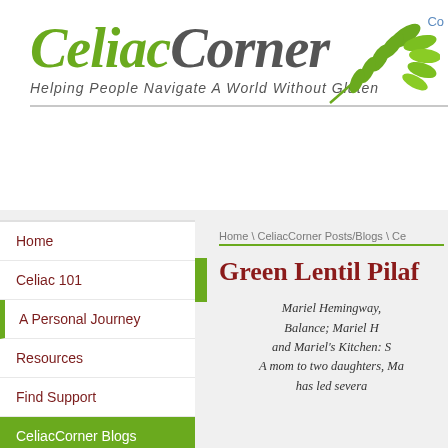[Figure (logo): Celiac Corner logo with wheat graphic and tagline 'Helping People Navigate A World Without Gluten']
Co
Home
Celiac 101
A Personal Journey
Resources
Find Support
CeliacCorner Blogs
On the Horizon
Celiacs Helping Celiacs
Celiac News: Recent Medical R...
Home \ CeliacCorner Posts/Blogs \ Ce
Green Lentil Pilaf...
Mariel Hemingway, Balance; Mariel H and Mariel's Kitchen: S A mom to two daughters, Ma has led severa